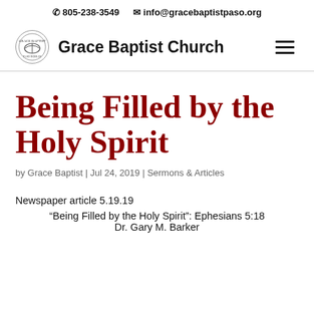📞 805-238-3549   ✉ info@gracebaptistpaso.org
[Figure (logo): Grace Baptist Church circular logo with book/Bible image and church name text]
Being Filled by the Holy Spirit
by Grace Baptist | Jul 24, 2019 | Sermons & Articles
Newspaper article 5.19.19
"Being Filled by the Holy Spirit": Ephesians 5:18
Dr. Gary M. Barker